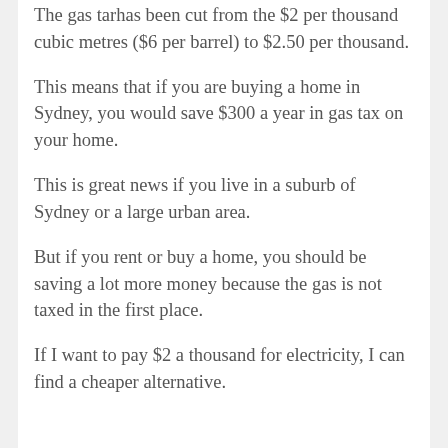The gas tarhas been cut from the $2 per thousand cubic metres ($6 per barrel) to $2.50 per thousand.
This means that if you are buying a home in Sydney, you would save $300 a year in gas tax on your home.
This is great news if you live in a suburb of Sydney or a large urban area.
But if you rent or buy a home, you should be saving a lot more money because the gas is not taxed in the first place.
If I want to pay $2 a thousand for electricity, I can find a cheaper alternative.